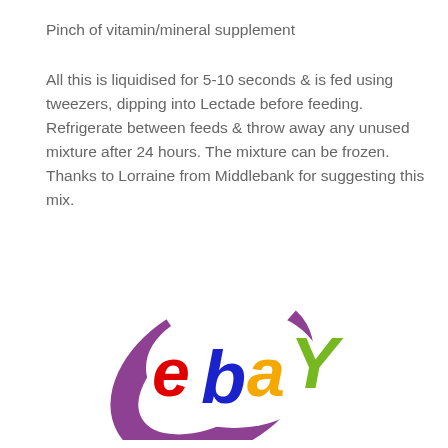Pinch of vitamin/mineral supplement
All this is liquidised for 5-10 seconds & is fed using tweezers, dipping into Lectade before feeding. Refrigerate between feeds & throw away any unused mixture after 24 hours. The mixture can be frozen. Thanks to Lorraine from Middlebank for suggesting this mix.
[Figure (logo): eBay logo with purple swirl/oval background. The letters 'e' in red, 'b' in blue, 'a' in yellow, 'Y' in green.]